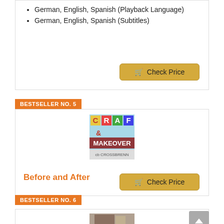German, English, Spanish (Playback Language)
German, English, Spanish (Subtitles)
BESTSELLER NO. 5
[Figure (photo): Book cover for 'Craft & Makeover' by CrossBrenn]
Before and After
BESTSELLER NO. 6
[Figure (photo): Book cover for Bestseller No. 6]